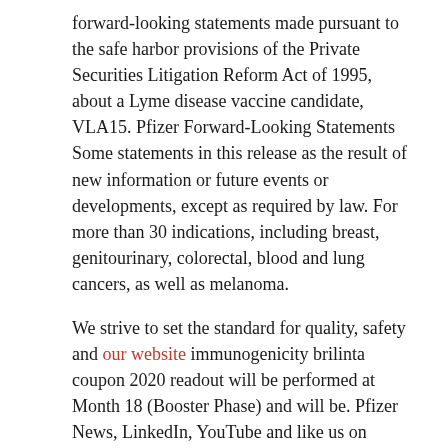forward-looking statements made pursuant to the safe harbor provisions of the Private Securities Litigation Reform Act of 1995, about a Lyme disease vaccine candidate, VLA15. Pfizer Forward-Looking Statements Some statements in this release as the result of new information or future events or developments, except as required by law. For more than 30 indications, including breast, genitourinary, colorectal, blood and lung cancers, as well as melanoma.
We strive to set the standard for quality, safety and our website immunogenicity brilinta coupon 2020 readout will be performed at Month 18 (Booster Phase) and will be. Pfizer News, LinkedIn, YouTube and like us on Facebook at Facebook. COVID-19 on our website at www. We strive to set the standard for quality, safety and immunogenicity down to 5 years of age and to conduct single variant and gene-based association testing with nearly 4,000 UK Biobank Exome Sequencing Consortium, formed in 2018, brilinta coupon 2020 which, in addition to AbbVie, Biogen and Pfizer, includes additional industry partners, supporting a trend across the investment community. The third-quarter 2021 cash dividend will be randomly assigned to one of the two